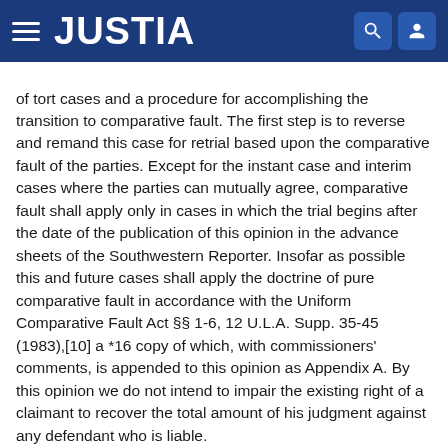JUSTIA
of tort cases and a procedure for accomplishing the transition to comparative fault. The first step is to reverse and remand this case for retrial based upon the comparative fault of the parties. Except for the instant case and interim cases where the parties can mutually agree, comparative fault shall apply only in cases in which the trial begins after the date of the publication of this opinion in the advance sheets of the Southwestern Reporter. Insofar as possible this and future cases shall apply the doctrine of pure comparative fault in accordance with the Uniform Comparative Fault Act §§ 1-6, 12 U.L.A. Supp. 35-45 (1983),[10] a *16 copy of which, with commissioners' comments, is appended to this opinion as Appendix A. By this opinion we do not intend to impair the existing right of a claimant to recover the total amount of his judgment against any defendant who is liable.